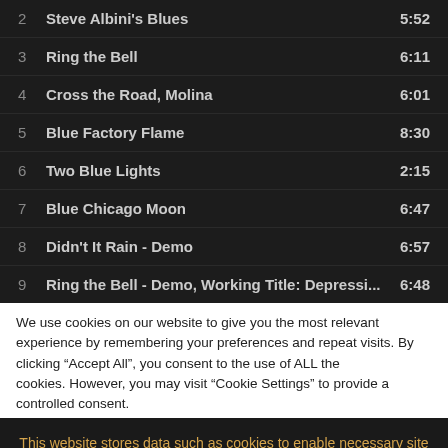| # | Title | Duration |
| --- | --- | --- |
| 2 | Steve Albini's Blues | 5:52 |
| 3 | Ring the Bell | 6:11 |
| 4 | Cross the Road, Molina | 6:01 |
| 5 | Blue Factory Flame | 8:30 |
| 6 | Two Blue Lights | 2:15 |
| 7 | Blue Chicago Moon | 6:47 |
| 8 | Didn't It Rain - Demo | 6:57 |
| 9 | Ring the Bell - Demo, Working Title: Depressi... | 6:48 |
We use cookies on our website to give you the most relevant experience by remembering your preferences and repeat visits. By clicking “Accept All”, you consent to the use of ALL the cookies. However, you may visit "Cookie Settings" to provide a controlled consent.
This website stores data such as cookies to enable necessary site functionality, including analytics, targeting, and personalization. By remaining on this website you indicate your consent Cookie Policy